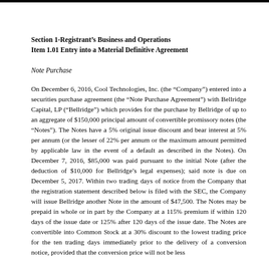Section 1-Registrant's Business and Operations
Item 1.01 Entry into a Material Definitive Agreement
Note Purchase
On December 6, 2016, Cool Technologies, Inc. (the “Company”) entered into a securities purchase agreement (the “Note Purchase Agreement”) with Bellridge Capital, LP (“Bellridge”) which provides for the purchase by Bellridge of up to an aggregate of $150,000 principal amount of convertible promissory notes (the “Notes”). The Notes have a 5% original issue discount and bear interest at 5% per annum (or the lesser of 22% per annum or the maximum amount permitted by applicable law in the event of a default as described in the Notes). On December 7, 2016, $85,000 was paid pursuant to the initial Note (after the deduction of $10,000 for Bellridge’s legal expenses); said note is due on December 5, 2017. Within two trading days of notice from the Company that the registration statement described below is filed with the SEC, the Company will issue Bellridge another Note in the amount of $47,500. The Notes may be prepaid in whole or in part by the Company at a 115% premium if within 120 days of the issue date or 125% after 120 days of the issue date. The Notes are convertible into Common Stock at a 30% discount to the lowest trading price for the ten trading days immediately prior to the delivery of a conversion notice, provided that the conversion price will not be less